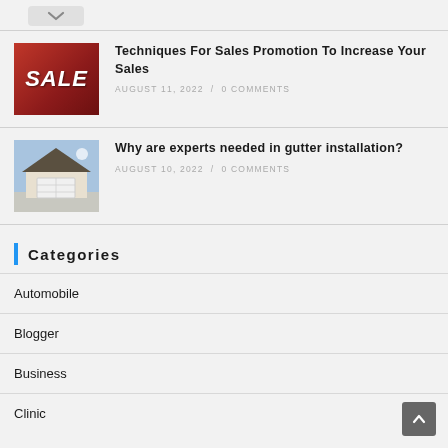[Figure (other): Down arrow / collapse button at top]
[Figure (photo): SALE sign photo in red storefront]
Techniques For Sales Promotion To Increase Your Sales
AUGUST 11, 2022 / 0 COMMENTS
[Figure (photo): House with garage door photo]
Why are experts needed in gutter installation?
AUGUST 10, 2022 / 0 COMMENTS
Categories
Automobile
Blogger
Business
Clinic